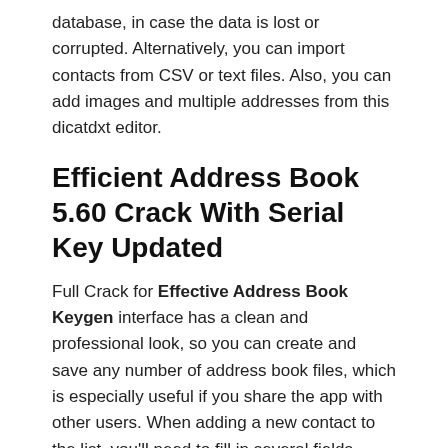database, in case the data is lost or corrupted. Alternatively, you can import contacts from CSV or text files. Also, you can add images and multiple addresses from this dicatdxt editor.
Efficient Address Book 5.60 Crack With Serial Key Updated
Full Crack for Effective Address Book Keygen interface has a clean and professional look, so you can create and save any number of address book files, which is especially useful if you share the app with other users. When adding a new contact to the list, you'll need to fill in several fields, whether it's standard information (such as name, company, department, or address), comments, details, photos, file references, attachments, categories, or priority levels. If you need a program that can store contacts, notes, hobbies, and more.
The main advantage of an effective address book keygen is that the program stores and updates data on database files.